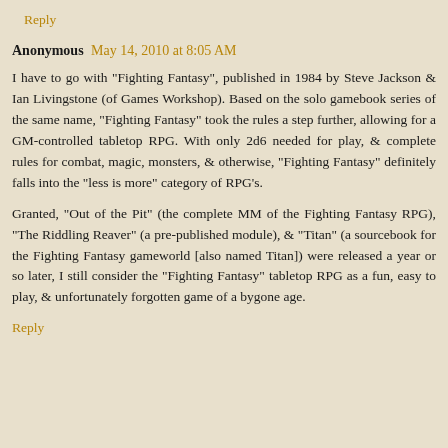Reply
Anonymous  May 14, 2010 at 8:05 AM
I have to go with "Fighting Fantasy", published in 1984 by Steve Jackson & Ian Livingstone (of Games Workshop). Based on the solo gamebook series of the same name, "Fighting Fantasy" took the rules a step further, allowing for a GM-controlled tabletop RPG. With only 2d6 needed for play, & complete rules for combat, magic, monsters, & otherwise, "Fighting Fantasy" definitely falls into the "less is more" category of RPG's.
Granted, "Out of the Pit" (the complete MM of the Fighting Fantasy RPG), "The Riddling Reaver" (a pre-published module), & "Titan" (a sourcebook for the Fighting Fantasy gameworld [also named Titan]) were released a year or so later, I still consider the "Fighting Fantasy" tabletop RPG as a fun, easy to play, & unfortunately forgotten game of a bygone age.
Reply